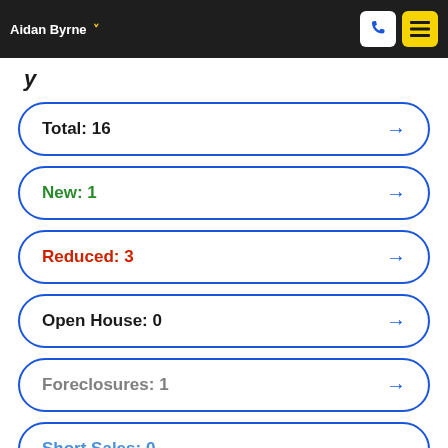Aidan Byrne
Total: 16
New: 1
Reduced: 3
Open House: 0
Foreclosures: 1
Short Sales: 0